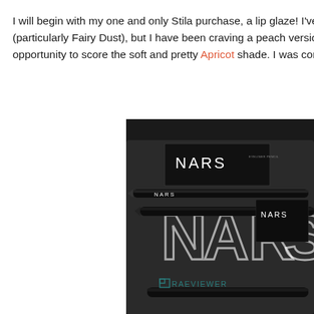I will begin with my one and only Stila purchase, a lip glaze! I've be (particularly Fairy Dust), but I have been craving a peach version. Si opportunity to score the soft and pretty Apricot shade. I was considering
[Figure (photo): NARS cosmetics products including eyeliner pencils and packaging arranged on a black NARS branded surface. A watermark reading RAEVIEWER is visible at the bottom.]